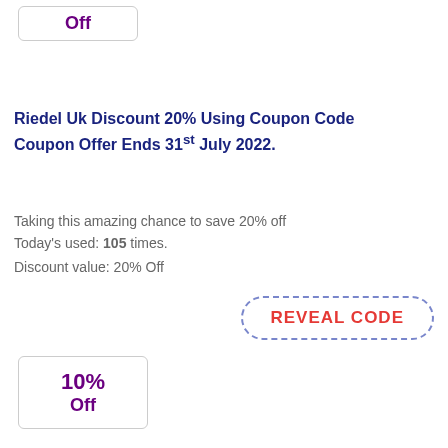[Figure (other): Discount badge showing 'Off' in purple bold text inside a rounded rectangle border]
Riedel Uk Discount 20% Using Coupon Code Coupon Offer Ends 31st July 2022.
Taking this amazing chance to save 20% off
Today's used: 105 times.
Discount value: 20% Off
[Figure (other): REVEAL CODE button with red text and dashed blue border rounded rectangle]
[Figure (other): Discount badge showing '10% Off' in purple bold text inside a rounded rectangle border]
Riedel Uk Riedel For Valentine And Discount 10% With Co.